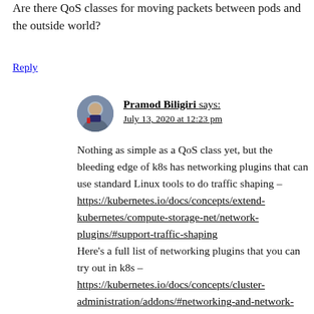Are there QoS classes for moving packets between pods and the outside world?
Reply
Pramod Biligiri says:
July 13, 2020 at 12:23 pm
Nothing as simple as a QoS class yet, but the bleeding edge of k8s has networking plugins that can use standard Linux tools to do traffic shaping – https://kubernetes.io/docs/concepts/extend-kubernetes/compute-storage-net/network-plugins/#support-traffic-shaping Here's a full list of networking plugins that you can try out in k8s – https://kubernetes.io/docs/concepts/cluster-administration/addons/#networking-and-network-policy